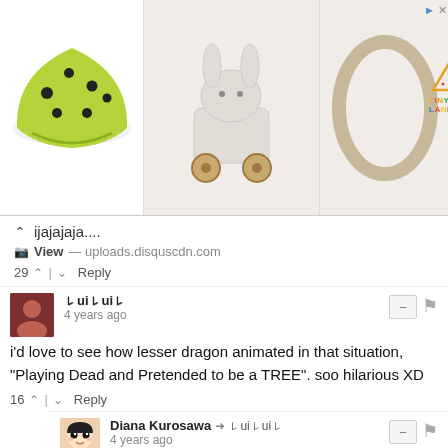[Figure (photo): Advertisement banner with three product images: a green/lime children's helmet with black dots, a white wooden rabbit pull toy on wheels, and a wooden oval/ring toy. Tiny Land logo in top-right corner.]
ijajajaja....
View — uploads.disquscdn.com
29 ^ | v Reply
🎀ui🎀ui🎀
4 years ago
i'd love to see how lesser dragon animated in that situation, "Playing Dead and Pretended to be a TREE". soo hilarious XD
16 ^ | v Reply
Diana Kurosawa → 🎀ui🎀ui🎀
4 years ago
The sweating part~ xD
2 ^ | v Reply
Lord Eternity